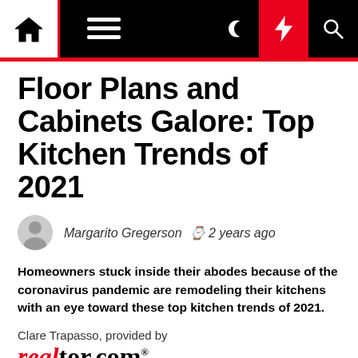Navigation bar with home, menu, dark mode, lightning, search icons
Floor Plans and Cabinets Galore: Top Kitchen Trends of 2021
Margarito Gregerson  2 years ago
Homeowners stuck inside their abodes because of the coronavirus pandemic are remodeling their kitchens with an eye toward these top kitchen trends of 2021.
Clare Trapasso, provided by realtor.com® Published